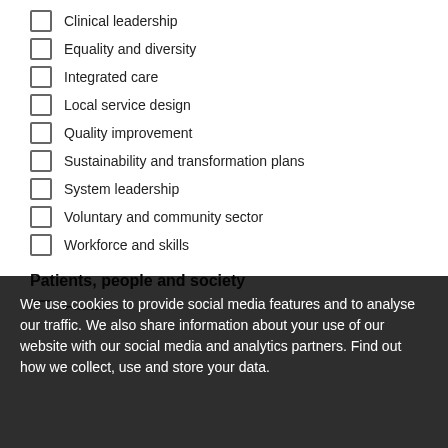Clinical leadership
Equality and diversity
Integrated care
Local service design
Quality improvement
Sustainability and transformation plans
System leadership
Voluntary and community sector
Workforce and skills
Patients, people and society
Carers
Children and young people
Health inequalities
We use cookies to provide social media features and to analyse our traffic. We also share information about your use of our website with our social media and analytics partners. Find out how we collect, use and store your data.